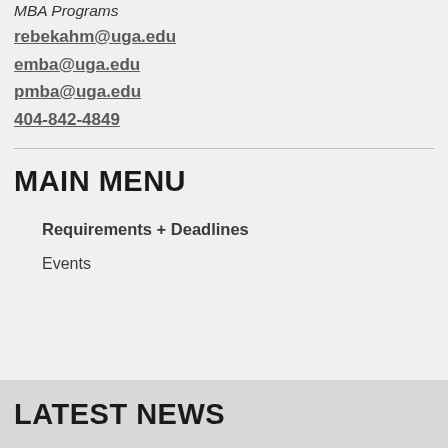MBA Programs
rebekahm@uga.edu
emba@uga.edu
pmba@uga.edu
404-842-4849
MAIN MENU
Requirements + Deadlines
Events
LATEST NEWS